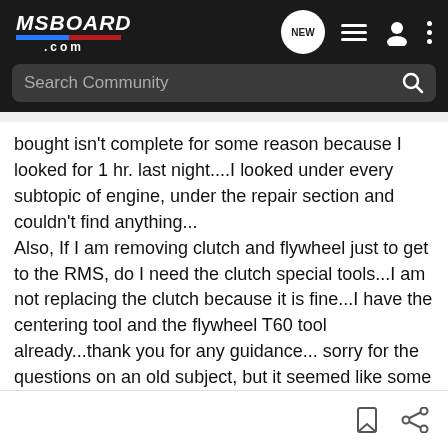MSBOARD.COM — Search Community
bought isn't complete for some reason because I looked for 1 hr. last night....I looked under every subtopic of engine, under the repair section and couldn't find anything...
Also, If I am removing clutch and flywheel just to get to the RMS, do I need the clutch special tools...I am not replacing the clutch because it is fine...I have the centering tool and the flywheel T60 tool already...thank you for any guidance... sorry for the questions on an old subject, but it seemed like some clutch threads mentioned the tools and others didn't... If I do need them, any ideas on how to get em?
Thanks again,